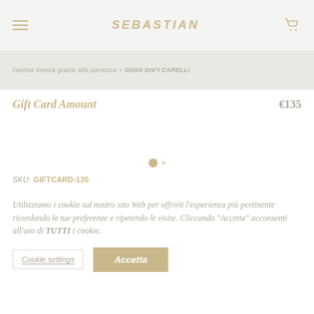Sebastian Professional — Navigation header with hamburger menu, logo, and cart icon
l'anima mezza grazie alla parrucca + GIUIA DIV'I CAPELLI
Gift Card Amount  €135
SKU: GIFTCARD-135
Utilizziamo i cookie sul nostro sito Web per offrirti l'esperienza più pertinente ricordando le tue preferenze e ripetendo le visite. Cliccando "Accetta" acconsenti all'uso di TUTTI i cookie.
Cookie settings  Accetta